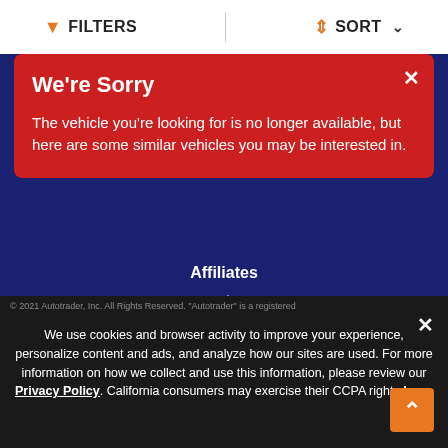FILTERS   SORT
We're Sorry
The vehicle you're looking for is no longer available, but here are some similar vehicles you may be interested in.
Affiliates
Autotrader.com
Buy Here Pay Here Center
Login
Become an Autotrader Dealer
© 2021 Autotrader, Inc. All Rights Reserved. "Autotrader" is a registered
We use cookies and browser activity to improve your experience, personalize content and ads, and analyze how our sites are used. For more information on how we collect and use this information, please review our Privacy Policy. California consumers may exercise their CCPA rights here.